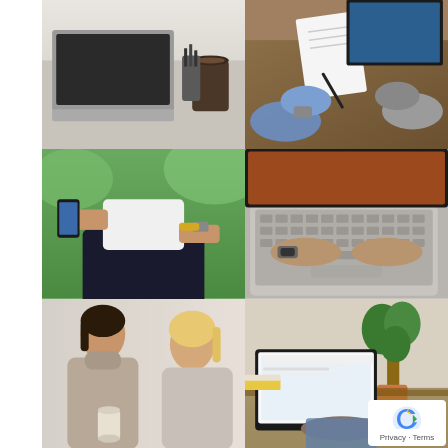[Figure (photo): Laptop and coffee cup on a desk, overhead view]
[Figure (photo): Two people's hands at a wooden table with documents and a laptop]
[Figure (photo): Person sitting outdoors holding a smartphone, casual business setting]
[Figure (photo): Hands typing on a MacBook keyboard with a dark screen]
[Figure (photo): Two women in conversation, one holding a coffee cup]
[Figure (photo): Man using a laptop at a desk with a plant in background]